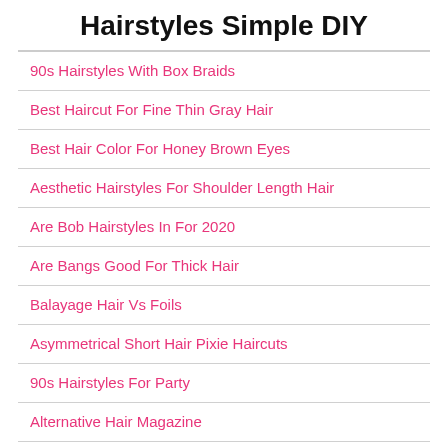Hairstyles Simple DIY
90s Hairstyles With Box Braids
Best Haircut For Fine Thin Gray Hair
Best Hair Color For Honey Brown Eyes
Aesthetic Hairstyles For Shoulder Length Hair
Are Bob Hairstyles In For 2020
Are Bangs Good For Thick Hair
Balayage Hair Vs Foils
Asymmetrical Short Hair Pixie Haircuts
90s Hairstyles For Party
Alternative Hair Magazine
Basic Hair Braids